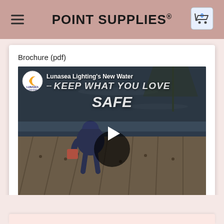POINT SUPPLIES®
Brochure (pdf)
[Figure (screenshot): YouTube-style video thumbnail showing Lunasea Lighting's New Water... video, with a child on a dock near water, text overlay KEEP WHAT YOU LOVE SAFE, play button in center, Lunasea Lighting logo top left]